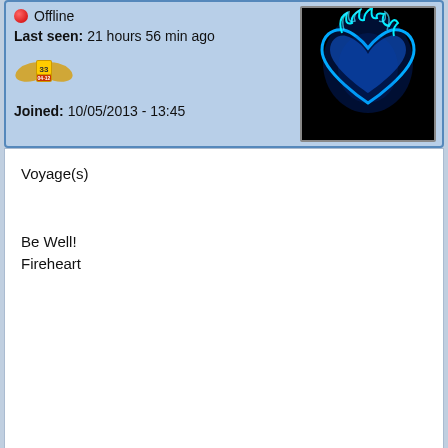Offline
Last seen: 21 hours 56 min ago
[Figure (illustration): Gold badge/shield icon with number 33 and text 04-12]
[Figure (photo): Blue flaming heart image on black background (avatar)]
Joined: 10/05/2013 - 13:45
Voyage(s)

Be Well!
Fireheart
Top
Log In Or Register To Post Comments
Wed, 09/14/2016 - 12:26   #2006